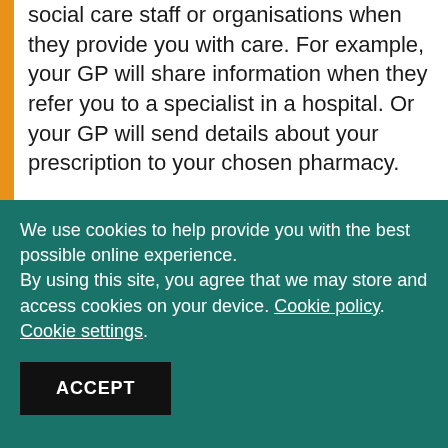social care staff or organisations when they provide you with care. For example, your GP will share information when they refer you to a specialist in a hospital. Or your GP will send details about your prescription to your chosen pharmacy.
We use cookies to help provide you with the best possible online experience. By using this site, you agree that we may store and access cookies on your device. Cookie policy. Cookie settings.